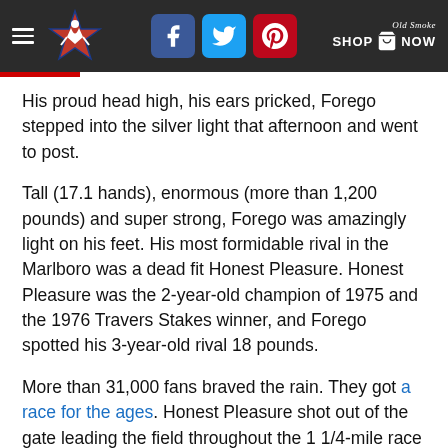Navigation bar with hamburger menu, horse-racing logo, Facebook/Twitter/Pinterest social icons, and Old Smoke Shop Now branding
His proud head high, his ears pricked, Forego stepped into the silver light that afternoon and went to post.
Tall (17.1 hands), enormous (more than 1,200 pounds) and super strong, Forego was amazingly light on his feet. His most formidable rival in the Marlboro was a dead fit Honest Pleasure. Honest Pleasure was the 2-year-old champion of 1975 and the 1976 Travers Stakes winner, and Forego spotted his 3-year-old rival 18 pounds.
More than 31,000 fans braved the rain. They got a race for the ages. Honest Pleasure shot out of the gate leading the field throughout the 1 1/4-mile race across a lake of slop. At the top of the stretch, Honest Pleasure was comfortably in command. Forego languished in sixth.
Then Forego did the impossible. Racing in the shallow end...